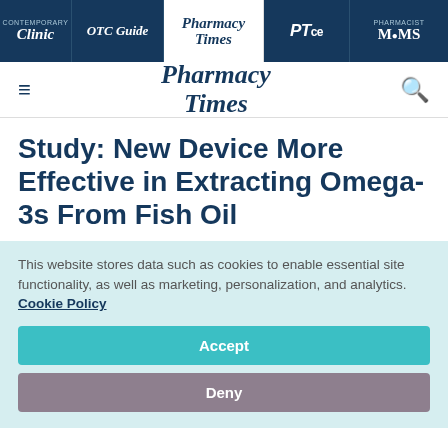Clinic | OTC Guide | Pharmacy Times | PTce | Pharmacist MOMS
[Figure (logo): Pharmacy Times logo with hamburger menu and search icon]
Study: New Device More Effective in Extracting Omega-3s From Fish Oil
This website stores data such as cookies to enable essential site functionality, as well as marketing, personalization, and analytics. Cookie Policy
Accept
Deny